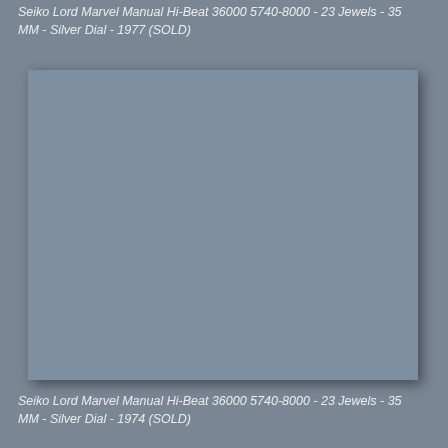Seiko Lord Marvel Manual Hi-Beat 36000 5740-8000 - 23 Jewels - 35 MM - Silver Dial - 1977 (SOLD)
[Figure (photo): Placeholder image area for Seiko Lord Marvel watch photo, rendered as a grey rectangle with shadow]
Seiko Lord Marvel Manual Hi-Beat 36000 5740-8000 - 23 Jewels - 35 MM - Silver Dial - 1974 (SOLD)